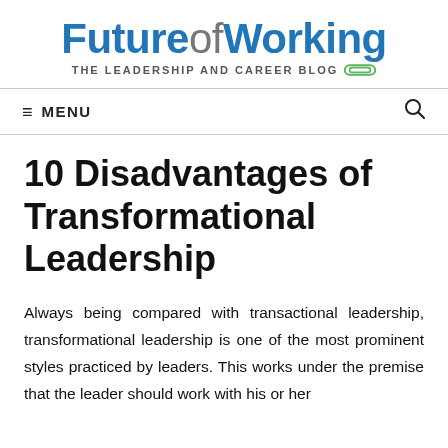FutureofWorking THE LEADERSHIP AND CAREER BLOG
MENU
10 Disadvantages of Transformational Leadership
Always being compared with transactional leadership, transformational leadership is one of the most prominent styles practiced by leaders. This works under the premise that the leader should work with his or her